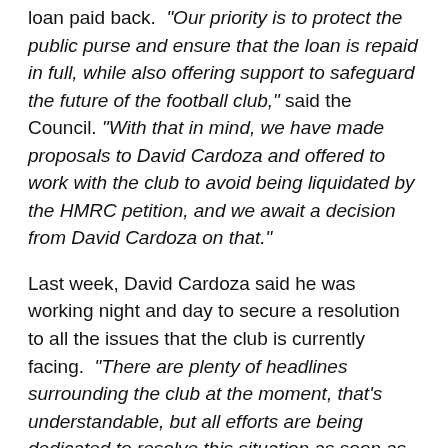loan paid back. “Our priority is to protect the public purse and ensure that the loan is repaid in full, while also offering support to safeguard the future of the football club,” said the Council. “With that in mind, we have made proposals to David Cardoza and offered to work with the club to avoid being liquidated by the HMRC petition, and we await a decision from David Cardoza on that.”
Last week, David Cardoza said he was working night and day to secure a resolution to all the issues that the club is currently facing. “There are plenty of headlines surrounding the club at the moment, that’s understandable, but all efforts are being dedicated to resolve this situation as soon as possible,” said David.
“I understand and accept the urgency, I understand the importance, and I am doing everything possible to remove